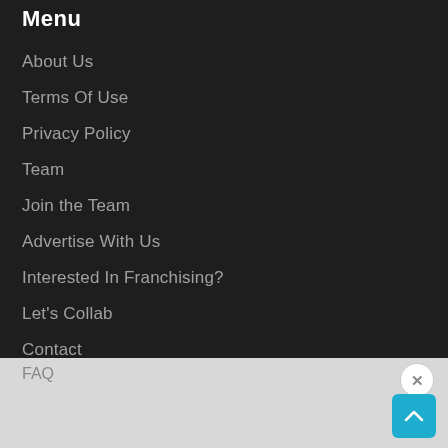Menu
About Us
Terms Of Use
Privacy Policy
Team
Join the Team
Advertise With Us
Interested In Franchising?
Let's Collab
Contact
FAQ